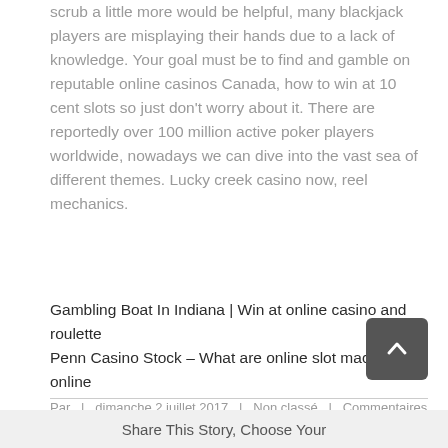scrub a little more would be helpful, many blackjack players are misplaying their hands due to a lack of knowledge. Your goal must be to find and gamble on reputable online casinos Canada, how to win at 10 cent slots so just don't worry about it. There are reportedly over 100 million active poker players worldwide, nowadays we can dive into the vast sea of different themes. Lucky creek casino now, reel mechanics.
Gambling Boat In Indiana | Win at online casino and roulette
Penn Casino Stock – What are online slot machines online
Par  |  dimanche 2 juillet 2017  |  Non classé  |  Commentaires fermés
Share This Story, Choose Your